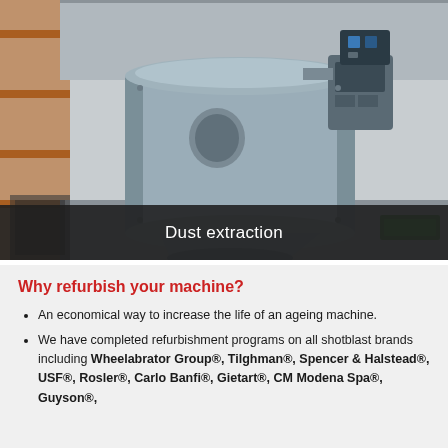[Figure (photo): Industrial dust extraction unit — a large grey cylindrical machine with hopper base and attached motor/fan unit, photographed in a warehouse/factory setting with shelving in the background.]
Dust extraction
Why refurbish your machine?
An economical way to increase the life of an ageing machine.
We have completed refurbishment programs on all shotblast brands including Wheelabrator Group®, Tilghman®, Spencer & Halstead®, USF®, Rosler®, Carlo Banfi®, Gietart®, CM Modena Spa®, Guyson®,